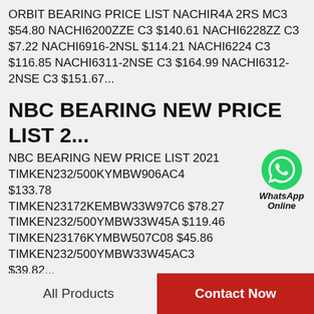ORBIT BEARING PRICE LIST NACHIR4A 2RS MC3 $54.80 NACHI6200ZZE C3 $140.61 NACHI6228ZZ C3 $7.22 NACHI6916-2NSL $114.21 NACHI6224 C3 $116.85 NACHI6311-2NSE C3 $164.99 NACHI6312-2NSE C3 $151.67...
NBC BEARING NEW PRICE LIST 2...
NBC BEARING NEW PRICE LIST 2021 TIMKEN232/500KYMBW906AC4 $133.78 TIMKEN23172KEMBW33W97C6 $78.27 TIMKEN232/500YMBW33W45A $119.46 TIMKEN23176KYMBW507C08 $45.86 TIMKEN232/500YMBW33W45AC3 $39.82...
GEM BEARING PRICE LIST
All Products   Contact Now